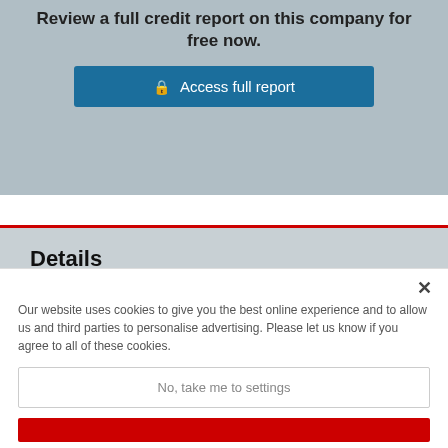Review a full credit report on this company for free now.
Access full report
Details
Company Name: Congregation Tiferes Miriam
Our website uses cookies to give you the best online experience and to allow us and third parties to personalise advertising. Please let us know if you agree to all of these cookies.
No, take me to settings